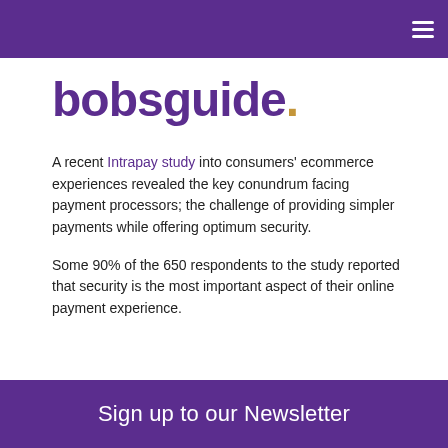bobsguide.
[Figure (logo): bobsguide. logo in bold purple text with an amber/gold period]
A recent Intrapay study into consumers' ecommerce experiences revealed the key conundrum facing payment processors; the challenge of providing simpler payments while offering optimum security.
Some 90% of the 650 respondents to the study reported that security is the most important aspect of their online payment experience.
Sign up to our Newsletter